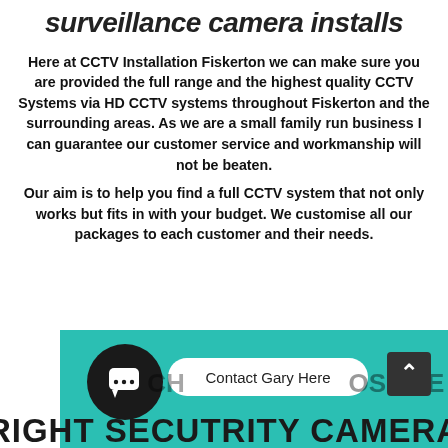surveillance camera installs
Here at CCTV Installation Fiskerton we can make sure you are provided the full range and the highest quality CCTV Systems via HD CCTV systems throughout Fiskerton and the surrounding areas. As we are a small family run business I can guarantee our customer service and workmanship will not be beaten.
Our aim is to help you find a full CCTV system that not only works but fits in with your budget. We customise all our packages to each customer and their needs.
[Figure (infographic): Teal banner at bottom with chat button (dark circle with speech bubble icon), 'Contact Gary Here' white pill button, partially visible 'CHOOSE' text and scroll-up arrow button, and 'RIGHT SECUTRITY CAMERA' text in large bold dark letters at the bottom.]